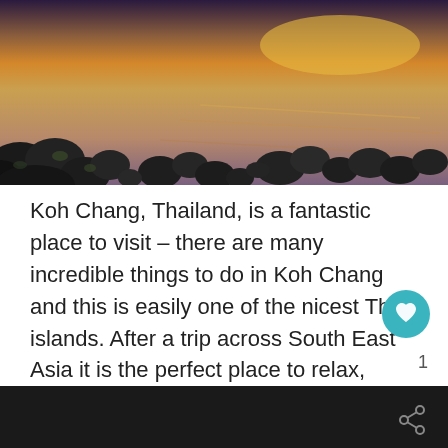[Figure (photo): Coastal sunset scene with dark rocks in foreground and golden/purple water in background at Koh Chang, Thailand]
Koh Chang, Thailand, is a fantastic place to visit – there are many incredible things to do in Koh Chang and this is easily one of the nicest Thai islands. After a trip across South East Asia it is the perfect place to relax, even for (or especially, I should say!) solo female travelers. The …
Read more
1